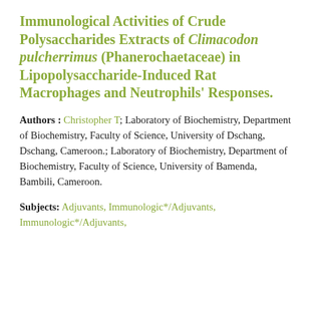Immunological Activities of Crude Polysaccharides Extracts of Climacodon pulcherrimus (Phanerochaetaceae) in Lipopolysaccharide-Induced Rat Macrophages and Neutrophils' Responses.
Authors : Christopher T; Laboratory of Biochemistry, Department of Biochemistry, Faculty of Science, University of Dschang, Dschang, Cameroon.; Laboratory of Biochemistry, Department of Biochemistry, Faculty of Science, University of Bamenda, Bambili, Cameroon.
Subjects: Adjuvants, Immunologic*/Adjuvants, Immunologic*/Adjuvants,